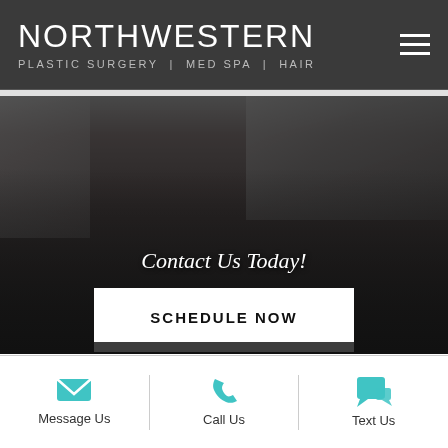NORTHWESTERN PLASTIC SURGERY | MED SPA | HAIR
[Figure (photo): Group of seven women in matching black jackets walking outdoors in front of a building with an American flag, overlaid with 'Contact Us Today!' text and a 'SCHEDULE NOW' button]
Contact Us Today!
SCHEDULE NOW
Message Us
Call Us
Text Us